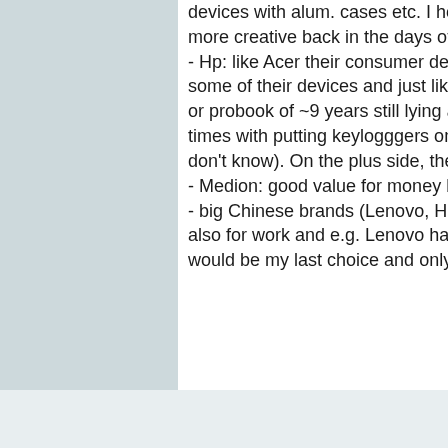devices with alum. cases etc. I hope that they will offer convertibles again with ezel hinges, they were more creative back in the days of win 8/8.1.
- Hp: like Acer their consumer devices' quality seems to have been improved and also like the designs of some of their devices and just like Dell their business line-up seem to be reliable (we have an HP zbook or probook of ~9 years still lying around and that thing is a tank). Though they have been caught several times with putting keylogggers on their consumer laptops (perhaps on some of their business laptop, don't know). On the plus side, they offer nice AMD products.
- Medion: good value for money brand for cheap devices but to boring for me :x .
- big Chinese brands (Lenovo, Huawai, Xinomi or whatever it is called :p ): since I would buy a laptop also for work and e.g. Lenovo has been caught 3 times in a row putting Superfish on their laptops, they would be my last choice and only if they offer